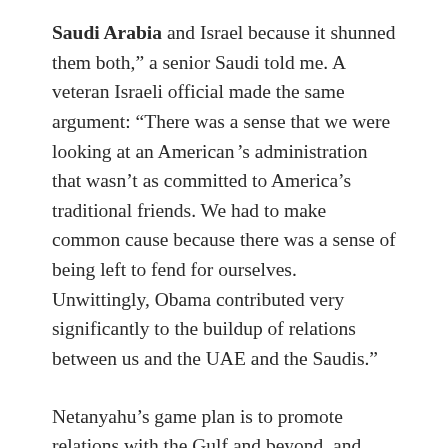Saudi Arabia and Israel because it shunned them both," a senior Saudi told me. A veteran Israeli official made the same argument: "There was a sense that we were looking at an American 's administration that wasn't as committed to America's traditional friends. We had to make common cause because there was a sense of being left to fend for ourselves. Unwittingly, Obama contributed very significantly to the buildup of relations between us and the UAE and the Saudis."
Netanyahu's game plan is to promote relations with the Gulf and beyond, and thus to marginalise and pressure the Palestinians. "What is happening with Arab states has never happened in our history, even when we